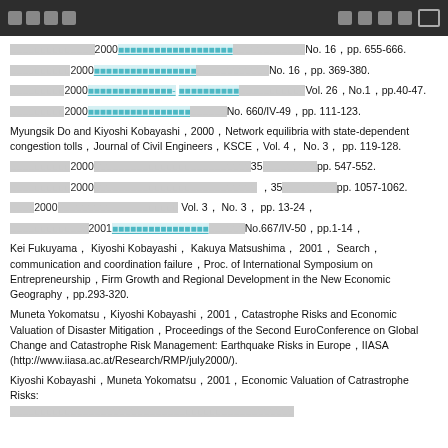[navigation header with CJK text and UI icons]
[CJK]2000[link][CJK]No. 16, pp. 655-666.
[CJK]2000[link][CJK]No. 16 pp. 369-380.
[CJK]2000[link]- [link][CJK]Vol. 26,No.1,pp.40-47.
[CJK]2000[link][CJK]No. 660/IV-49,pp. 111-123.
Myungsik Do and Kiyoshi Kobayashi,2000,Network equilibria with state-dependent congestion tolls,Journal of Civil Engineers,KSCE,Vol. 4, No. 3, pp. 119-128.
[CJK]2000[CJK]35[CJK]pp. 547-552.
[CJK]2000[CJK] ,35[CJK]pp. 1057-1062.
[CJK]2000[CJK] Vol. 3, No. 3, pp. 13-24,
[CJK]2001[link][CJK]No.667/IV-50,pp.1-14,
Kei Fukuyama, Kiyoshi Kobayashi, Kakuya Matsushima, 2001, Search, communication and coordination failure, Proc. of International Symposium on Entrepreneurship, Firm Growth and Regional Development in the New Economic Geography, pp.293-320.
Muneta Yokomatsu, Kiyoshi Kobayashi, 2001, Catastrophe Risks and Economic Valuation of Disaster Mitigation, Proceedings of the Second EuroConference on Global Change and Catastrophe Risk Management: Earthquake Risks in Europe, IIASA (http://www.iiasa.ac.at/Research/RMP/july2000/).
Kiyoshi Kobayashi, Muneta Yokomatsu, 2001, Economic Valuation of Catrastrophe Risks: [continues]